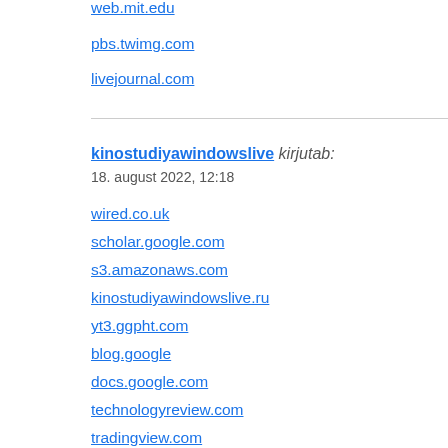web.mit.edu
pbs.twimg.com
livejournal.com
kinostudiyawindowslive kirjutab:
18. august 2022, 12:18
wired.co.uk
scholar.google.com
s3.amazonaws.com
kinostudiyawindowslive.ru
yt3.ggpht.com
blog.google
docs.google.com
technologyreview.com
tradingview.com
delicious.com
hurtle.com